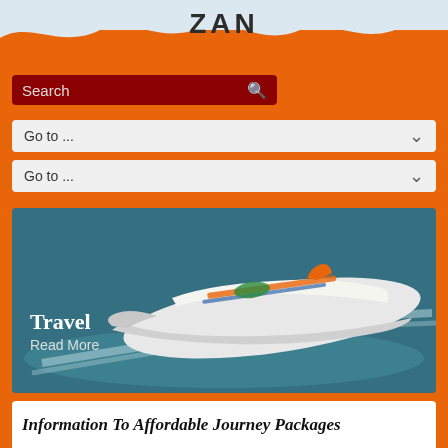ZAN
[Figure (screenshot): Search bar with dark red background and search icon]
[Figure (screenshot): Dropdown menu showing 'Go to ...' with chevron arrow]
[Figure (screenshot): Second dropdown menu showing 'Go to ...' with chevron arrow]
[Figure (photo): Aerial view of a large cruise ship sailing on blue-green ocean water]
Travel
Read More
Information To Affordable Journey Packages